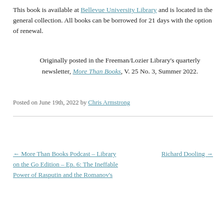This book is available at Bellevue University Library and is located in the general collection. All books can be borrowed for 21 days with the option of renewal.
Originally posted in the Freeman/Lozier Library's quarterly newsletter, More Than Books, V. 25 No. 3, Summer 2022.
Posted on June 19th, 2022 by Chris Armstrong
← More Than Books Podcast – Library on the Go Edition – Ep. 6: The Ineffable Power of Rasputin and the Romanov's
Richard Dooling →